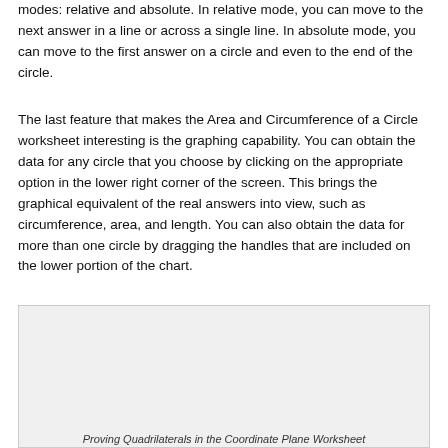modes: relative and absolute. In relative mode, you can move to the next answer in a line or across a single line. In absolute mode, you can move to the first answer on a circle and even to the end of the circle.
The last feature that makes the Area and Circumference of a Circle worksheet interesting is the graphing capability. You can obtain the data for any circle that you choose by clicking on the appropriate option in the lower right corner of the screen. This brings the graphical equivalent of the real answers into view, such as circumference, area, and length. You can also obtain the data for more than one circle by dragging the handles that are included on the lower portion of the chart.
[Figure (screenshot): A light gray rectangular box, likely a screenshot placeholder for the Proving Quadrilaterals in the Coordinate Plane Worksheet image.]
Proving Quadrilaterals in the Coordinate Plane Worksheet